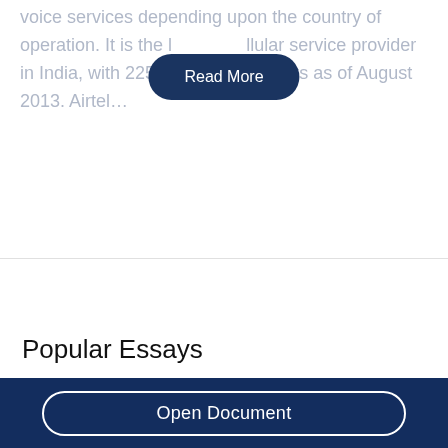voice services depending upon the country of operation. It is the largest cellular service provider in India, with 225 million subscribers as of August 2013. Airtel…
[Figure (other): Read More button — dark navy rounded pill button overlaid on text]
Popular Essays
[Figure (other): Open Document button — white-outlined rounded pill button on dark navy background]